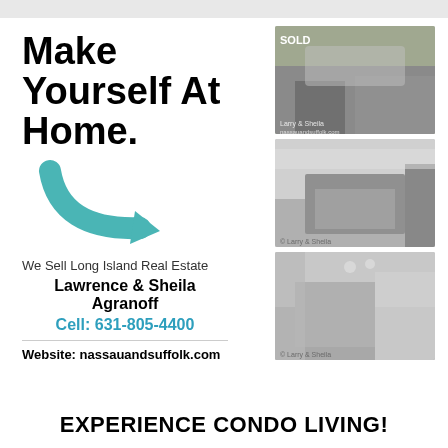Make Yourself At Home.
[Figure (illustration): Teal curved arrow pointing right]
We Sell Long Island Real Estate
Lawrence & Sheila Agranoff
Cell: 631-805-4400
Website: nassauandsuffolk.com
[Figure (photo): Exterior of a condo building with SOLD banner overlay]
[Figure (photo): Interior kitchen photo in black and white]
[Figure (photo): Interior kitchen/dining area photo in black and white]
EXPERIENCE CONDO LIVING!